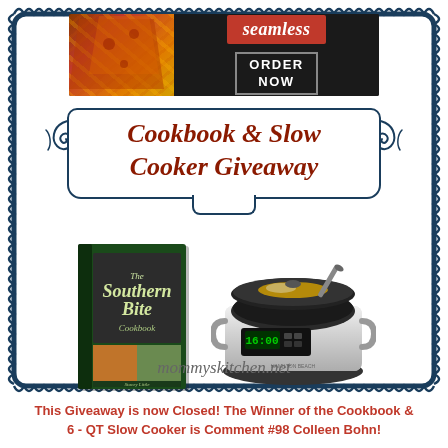[Figure (screenshot): Seamless food delivery advertisement banner with pizza image on left, Seamless logo in red, and ORDER NOW button]
Cookbook & Slow Cooker Giveaway
[Figure (illustration): The Southern Bite Cookbook book cover and a Hamilton Beach slow cooker with digital display shown side by side]
mommyskitchen.net
This Giveaway is now Closed! The Winner of the Cookbook & 6 - QT Slow Cooker is Comment #98 Colleen Bohn!